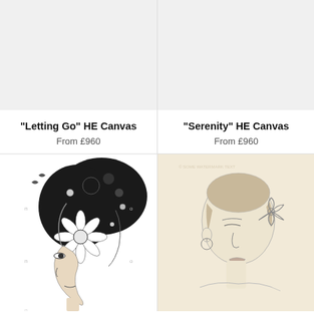[Figure (illustration): Empty gray placeholder image for 'Letting Go' HE Canvas product]
"Letting Go" HE Canvas
From £960
[Figure (illustration): Empty gray placeholder image for 'Serenity' HE Canvas product]
"Serenity" HE Canvas
From £960
[Figure (illustration): Black and white ink illustration of a woman's profile with elaborate floral headdress featuring a large daisy/flower at center, intricate botanical details]
[Figure (illustration): Pencil sketch illustration of a woman's face in profile with a flower/hibiscus behind her ear and a dangling earring, on cream/beige background]